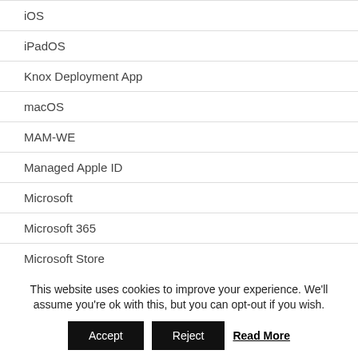iOS
iPadOS
Knox Deployment App
macOS
MAM-WE
Managed Apple ID
Microsoft
Microsoft 365
Microsoft Store
OEMConfig
This website uses cookies to improve your experience. We'll assume you're ok with this, but you can opt-out if you wish.
Accept  Reject  Read More